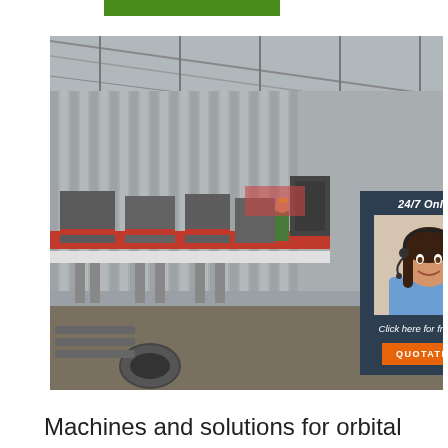[Figure (photo): Green horizontal bar at top of page]
[Figure (photo): Industrial factory floor showing machinery and equipment for pipe or tube manufacturing, with red assembly line equipment, metal frames, a worker in safety vest, and corrugated metal roof. Overlaid with a chat widget showing a female customer service representative with headset, '24/7 Online' text, 'Click here for free chat!' text, and a QUOTATION button.]
Machines and solutions for orbital